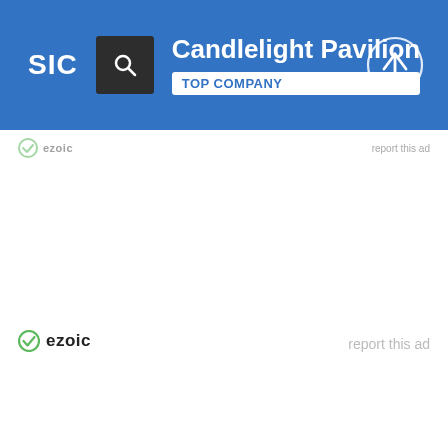SIC | Candlelight Pavilion | TOP COMPANY
[Figure (logo): Ezoic logo with green circular icon and 'ezoic' text (top, faded)]
report this ad (top, faded)
[Figure (logo): Ezoic logo with green circular icon and 'ezoic' text (bottom)]
report this ad